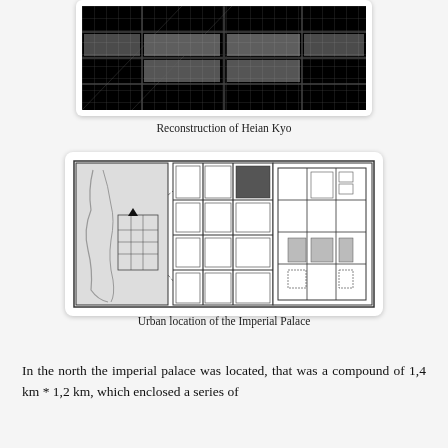[Figure (photo): Aerial/overhead reconstruction photograph of Heian Kyo showing a dense grid-pattern city layout in black and white]
Reconstruction of Heian Kyo
[Figure (map): Three-panel diagram showing urban location of the Imperial Palace: left panel is a regional map with coastline and city grid, middle panel shows a zoomed city block plan, right panel shows the Imperial Palace compound layout with shaded buildings]
Urban location of the Imperial Palace
In the north the imperial palace was located, that was a compound of 1,4 km * 1,2 km, which enclosed a series of